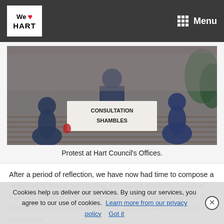We HART | Menu
[Figure (photo): People holding a banner reading 'CONSULTATION SHAMBLES' outside Hart Council's Offices, on a brick paved area.]
Protest at Hart Council's Offices.
After a period of reflection, we have now had time to compose a response to Hart's astonishing decision to abandon the Local Plan consultation and set out what we think should happen to bring the Local Plan back on track. This has been sent to all councillors.
Readers may wish to copy a link to this page and send it to their ward councillor and add their own ideas on what should
Cookies help us deliver our services. By using our services, you agree to our use of cookies. Learn more from our privacy policy  Got it